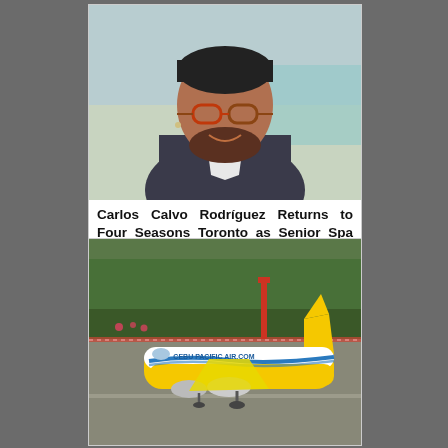[Figure (photo): Portrait photo of Carlos Calvo Rodríguez, a smiling man wearing distinctive red-rimmed tortoiseshell glasses and a grey blazer over a white mandarin-collar shirt, with blurred indoor/outdoor background]
Carlos Calvo Rodríguez Returns to Four Seasons Toronto as Senior Spa Director
[Figure (photo): Photo of a Cebu Pacific Air yellow and white Airbus A320 aircraft on the tarmac with green trees in the background; the fuselage reads CEBU PACIFIC AIR.COM]